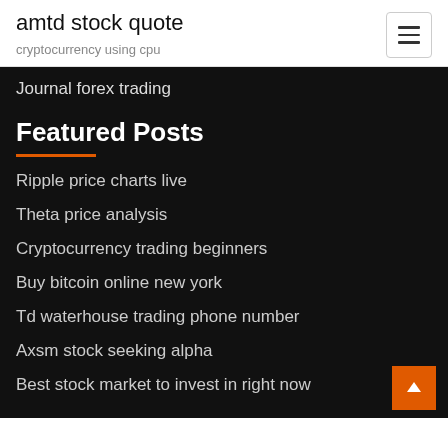amtd stock quote
cryptocurrency using cpu
Journal forex trading
Featured Posts
Ripple price charts live
Theta price analysis
Cryptocurrency trading beginners
Buy bitcoin online new york
Td waterhouse trading phone number
Axsm stock seeking alpha
Best stock market to invest in right now